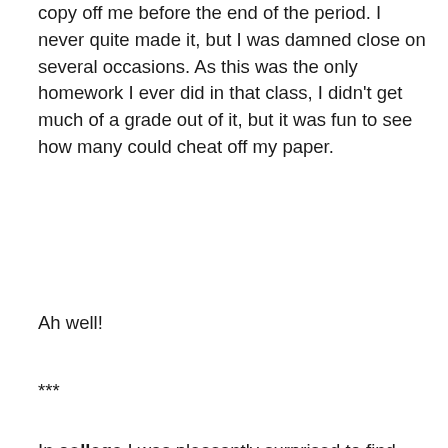copy off me before the end of the period. I never quite made it, but I was damned close on several occasions. As this was the only homework I ever did in that class, I didn't get much of a grade out of it, but it was fun to see how many could cheat off my paper.
Ah well!
***
In college I was pleasantly surprised to find myself actually giving a damn. This led to an awkward moment in my first semester as I suddenly found myself unable to answer a question in psychology on a test I actually wanted to pass. The wanting part alone was new to me (and very weird). I found my eyes drifting slowly to the scantron sheet of a student two rows down. It was more a kind of wishful thinking than a decision to cheat. I hadn't